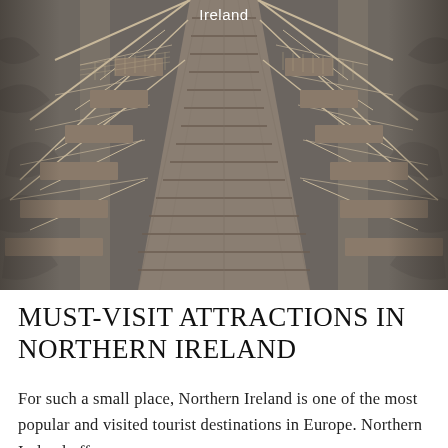[Figure (photo): Aerial/top-down view of a rope suspension bridge with wooden plank steps and rope netting on the sides, photographed from above looking down, in muted grey-brown tones. The word 'Ireland' appears as a text overlay at the top of the image.]
MUST-VISIT ATTRACTIONS IN NORTHERN IRELAND
For such a small place, Northern Ireland is one of the most popular and visited tourist destinations in Europe. Northern Ireland offers